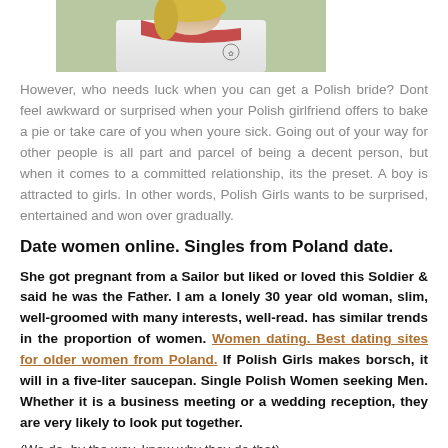[Figure (photo): Partial photo of a person, cropped at top showing upper body with red and white clothing]
However, who needs luck when you can get a Polish bride? Dont feel awkward or surprised when your Polish girlfriend offers to bake a pie or take care of you when youre sick. Going out of your way for other people is all part and parcel of being a decent person, but when it comes to a committed relationship, its the preset. A boy is attracted to girls. In other words, Polish Girls wants to be surprised, entertained and won over gradually.
Date women online. Singles from Poland date.
She got pregnant from a Sailor but liked or loved this Soldier & said he was the Father. I am a lonely 30 year old woman, slim, well-groomed with many interests, well-read. has similar trends in the proportion of women. Women dating. Best dating sites for older women from Poland. If Polish Girls makes borsch, it will in a five-liter saucepan. Single Polish Women seeking Men. Whether it is a business meeting or a wedding reception, they are very likely to look put together.
(We do, by the way, know why they do that).
Find gf online free.
When you are invited to a Polish house, expect the hostess